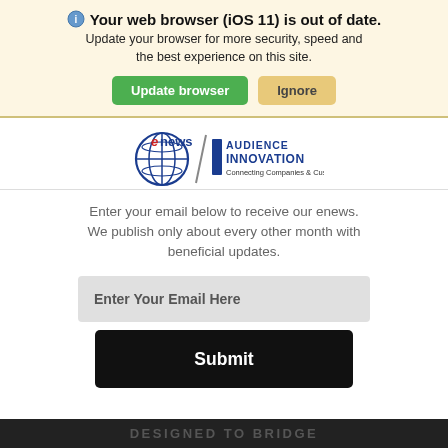Your web browser (iOS 11) is out of date. Update your browser for more security, speed and the best experience on this site.
[Figure (screenshot): Two buttons: 'Update browser' (green) and 'Ignore' (tan/yellow)]
[Figure (logo): eNews and Audience Innovation logo: 'Connecting Companies & Customers']
Enter your email below to receive our enews. We publish only about every other month with beneficial updates.
[Figure (screenshot): Email input field with placeholder text 'Enter Your Email Here']
[Figure (screenshot): Submit button (black)]
DESIGNED TO BRIDGE